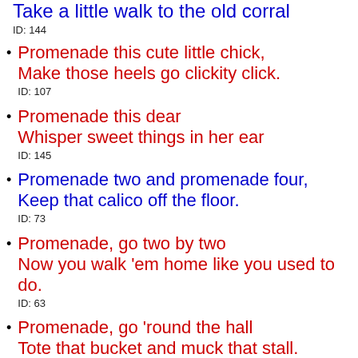Take a little walk to the old corral
ID: 144
Promenade this cute little chick,
Make those heels go clickity click.
ID: 107
Promenade this dear
Whisper sweet things in her ear
ID: 145
Promenade two and promenade four,
Keep that calico off the floor.
ID: 73
Promenade, go two by two
Now you walk 'em home like you used to do.
ID: 63
Promenade, go 'round the hall
Tote that bucket and muck that stall.
ID: 113
Promenade, you go side by side
Like a knock-kneed groom and a bow-legged bride